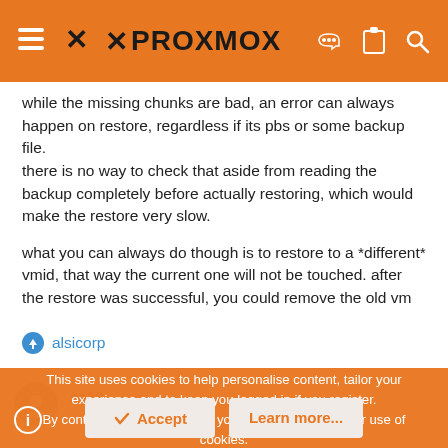PROXMOX
while the missing chunks are bad, an error can always happen on restore, regardless if its pbs or some backup file.
there is no way to check that aside from reading the backup completely before actually restoring, which would make the restore very slow.

what you can always do though is to restore to a *different* vmid, that way the current one will not be touched. after the restore was successful, you could remove the old vm
alsicorp
This site uses cookies to help personalise content, tailor your experience and to keep you logged in if you register.
By continuing to use this site, you are consenting to our use of cookies.